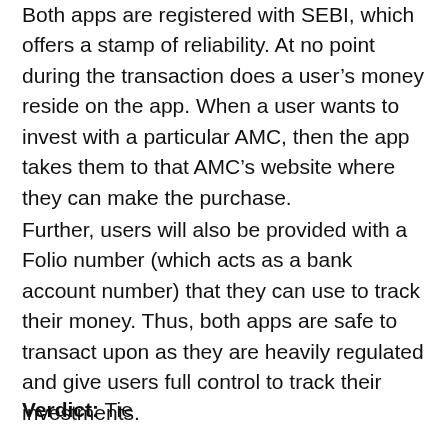Both apps are registered with SEBI, which offers a stamp of reliability. At no point during the transaction does a user's money reside on the app. When a user wants to invest with a particular AMC, then the app takes them to that AMC's website where they can make the purchase.
Further, users will also be provided with a Folio number (which acts as a bank account number) that they can use to track their money. Thus, both apps are safe to transact upon as they are heavily regulated and give users full control to track their investments.
Verdict: Tie